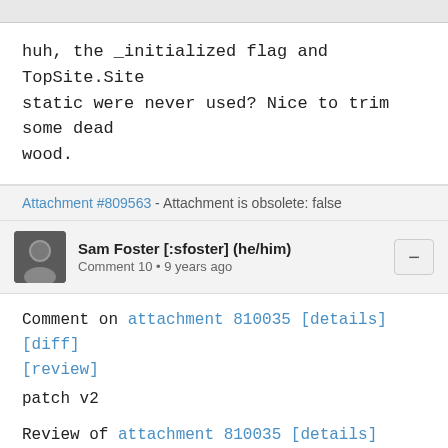huh, the _initialized flag and TopSite.Site static were never used? Nice to trim some dead wood.
Attachment #809563 - Attachment is obsolete: false
Sam Foster [:sfoster] (he/him)
Comment 10 • 9 years ago
Comment on attachment 810035 [details] [diff] [review]
patch v2

Review of attachment 810035 [details] [diff] [review]:
--------------------------------------------------------------------
-------------------

Ah ha! I see we had too many inits in our inits